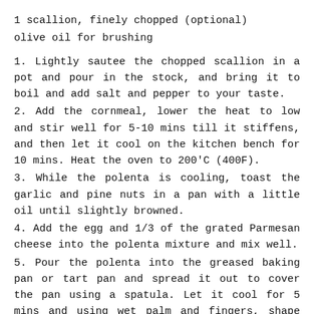1 scallion, finely chopped (optional)
olive oil for brushing
1. Lightly sautee the chopped scallion in a pot and pour in the stock, and bring it to boil and add salt and pepper to your taste.
2. Add the cornmeal, lower the heat to low and stir well for 5-10 mins till it stiffens, and then let it cool on the kitchen bench for 10 mins. Heat the oven to 200'C (400F).
3. While the polenta is cooling, toast the garlic and pine nuts in a pan with a little oil until slightly browned.
4. Add the egg and 1/3 of the grated Parmesan cheese into the polenta mixture and mix well.
5. Pour the polenta into the greased baking pan or tart pan and spread it out to cover the pan using a spatula. Let it cool for 5 mins and using wet palm and fingers, shape and trim the crust.